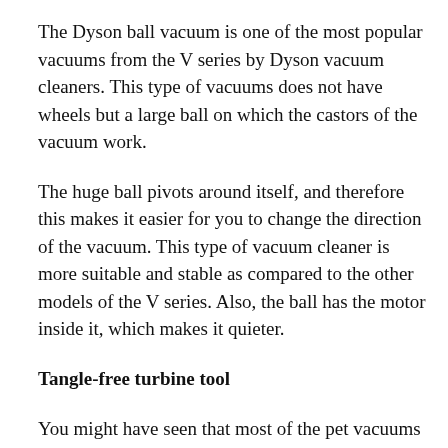The Dyson ball vacuum is one of the most popular vacuums from the V series by Dyson vacuum cleaners. This type of vacuums does not have wheels but a large ball on which the castors of the vacuum work.
The huge ball pivots around itself, and therefore this makes it easier for you to change the direction of the vacuum. This type of vacuum cleaner is more suitable and stable as compared to the other models of the V series. Also, the ball has the motor inside it, which makes it quieter.
Tangle-free turbine tool
You might have seen that most of the pet vacuums comes with mini turbo brush to pull out the hairs from the surface of the house, but this is not the case with Dyson V series lightweight vacuums.